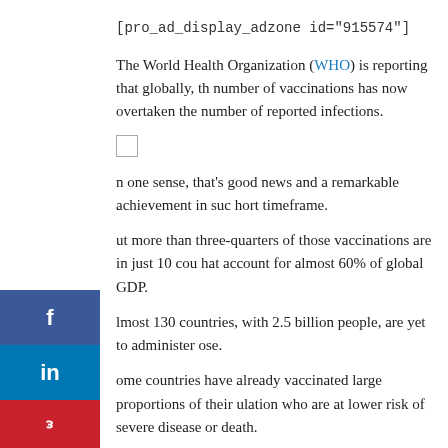[pro_ad_display_adzone id="915574"]
The World Health Organization (WHO) is reporting that globally, the number of vaccinations has now overtaken the number of reported infections.
In one sense, that's good news and a remarkable achievement in such a short timeframe.
But more than three-quarters of those vaccinations are in just 10 countries that account for almost 60% of global GDP.
Almost 130 countries, with 2.5 billion people, are yet to administer a dose.
Some countries have already vaccinated large proportions of their population who are at lower risk of severe disease or death.
governments have an obligation to protect their own people.